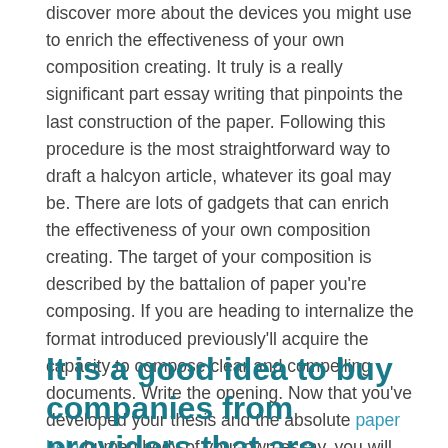discover more about the devices you might use to enrich the effectiveness of your own composition creating. It truly is a really significant part essay writing that pinpoints the last construction of the paper. Following this procedure is the most straightforward way to draft a halcyon article, whatever its goal may be. There are lots of gadgets that can enrich the effectiveness of your own composition creating. The target of your composition is described by the battalion of paper you're composing. If you are heading to internalize the format introduced previously'll acquire the capacity to compose clear and compelling documents. Write the opening. Now that you've developed your thesis and the absolute paper help human body of your own essay, you will need to write an introduction. The last sentence of the article gives the decision.
It is a good idea to buy companies from providers that are renowned.